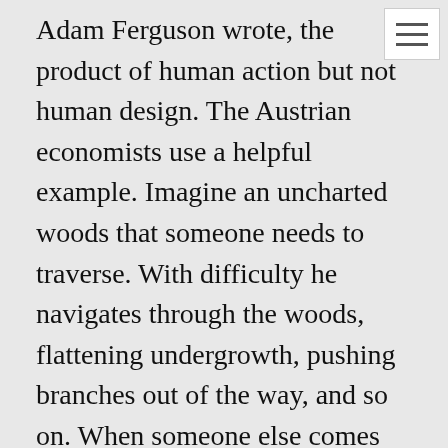Adam Ferguson wrote, the product of human action but not human design. The Austrian economists use a helpful example. Imagine an uncharted woods that someone needs to traverse. With difficulty he navigates through the woods, flattening undergrowth, pushing branches out of the way, and so on. When someone else comes along who needs to get through, his easiest route will be the one blazed by the first person. It will be even more so for the next person, etc. Before you know it, there's a clear path. But no one set out to make a path, only to get through the woods.

That's a highly simplified example. After all, a path is a simple thing to plan consciously. But institutions of great complexity, too complex to be intelligently planned, are generated similarly. That's the marvel of